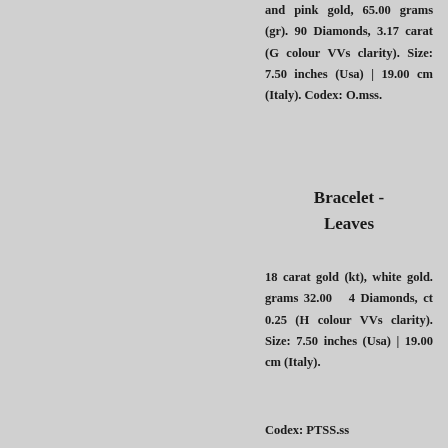and pink gold, 65.00 grams (gr). 90 Diamonds, 3.17 carat (G colour VVs clarity). Size: 7.50 inches (Usa) | 19.00 cm (Italy). Codex: O.mss.
Bracelet - Leaves
18 carat gold (kt), white gold. grams 32.00 4 Diamonds, ct 0.25 (H colour VVs clarity). Size: 7.50 inches (Usa) | 19.00 cm (Italy).
Codex: PTSS.ss